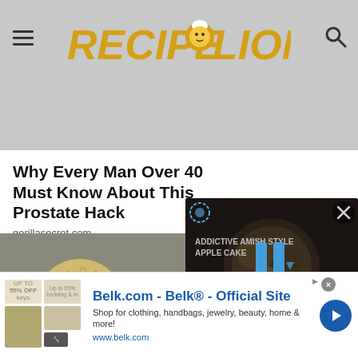RecipeLion
Why Every Man Over 40 Must Know About This Prostate Hack
gorillasecret.com
[Figure (photo): Photo of a fluffy golden dog smiling, sitting on a couch]
[Figure (screenshot): Dark video overlay showing Addictive Amish Style Apple Cake video with play button, mute button, and close X]
[Figure (other): Belk.com advertisement banner showing clothing/bedding thumbnails, Belk official site text, blue arrow button]